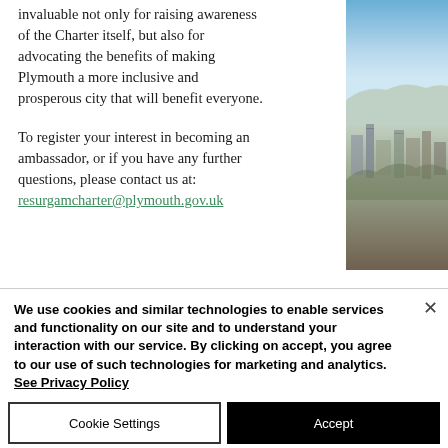invaluable not only for raising awareness of the Charter itself, but also for advocating the benefits of making Plymouth a more inclusive and prosperous city that will benefit everyone.
To register your interest in becoming an ambassador, or if you have any further questions, please contact us at: resurgamcharter@plymouth.gov.uk
[Figure (photo): Aerial photograph of Plymouth city showing urban buildings and landscape under a blue sky]
We use cookies and similar technologies to enable services and functionality on our site and to understand your interaction with our service. By clicking on accept, you agree to our use of such technologies for marketing and analytics. See Privacy Policy
Cookie Settings
Accept